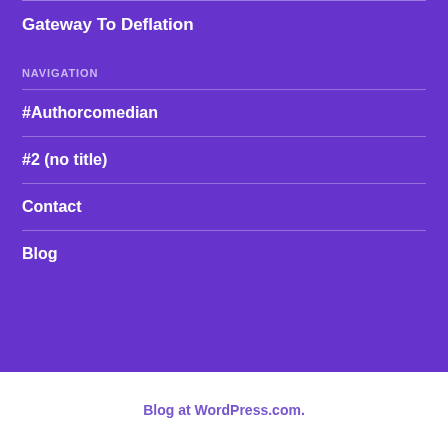Gateway To Deflation
NAVIGATION
#Authorcomedian
#2 (no title)
Contact
Blog
Blog at WordPress.com.